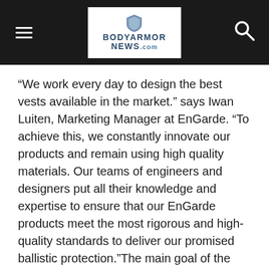BodyArmor News
“We work every day to design the best vests available in the market.” says Iwan Luiten, Marketing Manager at EnGarde. “To achieve this, we constantly innovate our products and remain using high quality materials. Our teams of engineers and designers put all their knowledge and expertise to ensure that our EnGarde products meet the most rigorous and high-quality standards to deliver our promised ballistic protection.”The main goal of the company is to save lives, the reason why EnGarde keeps building global relationships. Hoping that more doors will continue to open with different foundations and organizations to keep on achieving its core mission.